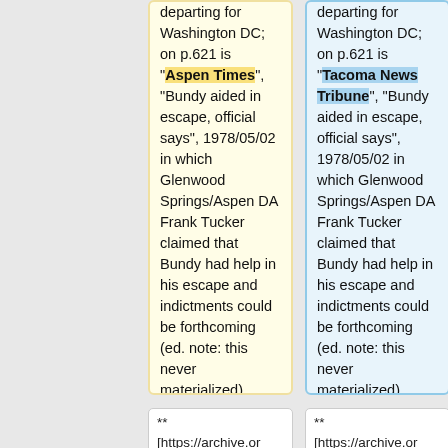departing for Washington DC; on p.621 is "Aspen Times", "Bundy aided in escape, official says", 1978/05/02 in which Glenwood Springs/Aspen DA Frank Tucker claimed that Bundy had help in his escape and indictments could be forthcoming (ed. note: this never materialized)
departing for Washington DC; on p.621 is "Tacoma News Tribune", "Bundy aided in escape, official says", 1978/05/02 in which Glenwood Springs/Aspen DA Frank Tucker claimed that Bundy had help in his escape and indictments could be forthcoming (ed. note: this never materialized)
** [https://archive.org/details/tedbundvlakesammamish
** [https://archive.org/details/tedbundvlakesammamish